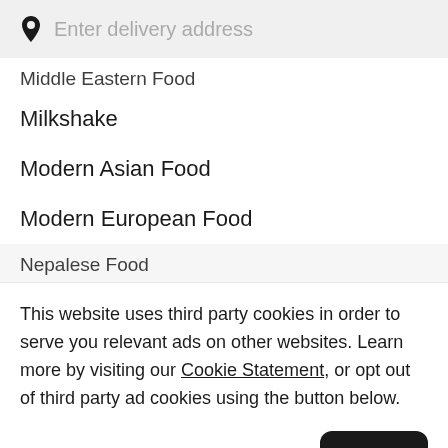[Figure (screenshot): Search bar with pin/location icon and placeholder text 'Enter delivery address' on gray background]
Middle Eastern Food
Milkshake
Modern Asian Food
Modern European Food
Nepalese Food
This website uses third party cookies in order to serve you relevant ads on other websites. Learn more by visiting our Cookie Statement, or opt out of third party ad cookies using the button below.
Opt out
Got it